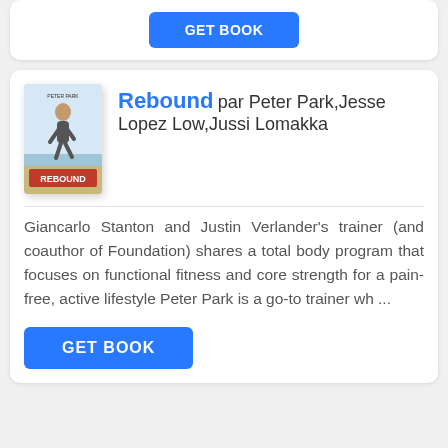[Figure (screenshot): Blue GET BOOK button at top of page, partially visible]
[Figure (photo): Book cover of 'Rebound' showing a man running on a beach]
Rebound par Peter Park,Jesse Lopez Low,Jussi Lomakka
Giancarlo Stanton and Justin Verlander's trainer (and coauthor of Foundation) shares a total body program that focuses on functional fitness and core strength for a pain-free, active lifestyle Peter Park is a go-to trainer wh ...
[Figure (screenshot): Blue GET BOOK button]